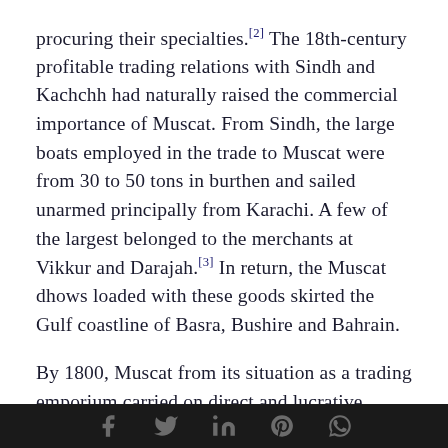procuring their specialties.[2] The 18th-century profitable trading relations with Sindh and Kachchh had naturally raised the commercial importance of Muscat. From Sindh, the large boats employed in the trade to Muscat were from 30 to 50 tons in burthen and sailed unarmed principally from Karachi. A few of the largest belonged to the merchants at Vikkur and Darajah.[3] In return, the Muscat dhows loaded with these goods skirted the Gulf coastline of Basra, Bushire and Bahrain.
By 1800, Muscat from its situation as a trading emporium carried on direct and lucrative mercantile dealings with Kachchh, Baluchistan
[social media icons: Facebook, Twitter, LinkedIn, Pinterest, WhatsApp]